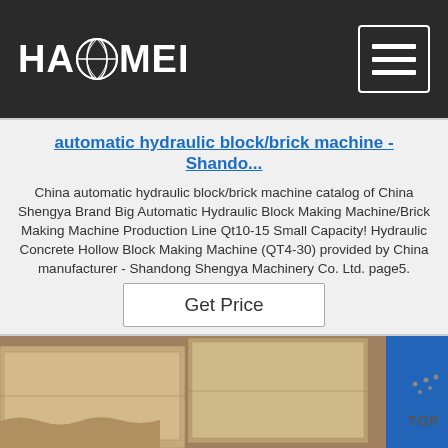HAOMEI [logo with globe]
automatic hydraulic block/brick machine - Shando...
China automatic hydraulic block/brick machine catalog of China Shengya Brand Big Automatic Hydraulic Block Making Machine/Brick Making Machine Production Line Qt10-15 Small Capacity! Hydraulic Concrete Hollow Block Making Machine (QT4-30) provided by China manufacturer - Shandong Shengya Machinery Co. Ltd. page5.
Get Price
[Figure (photo): Photo of stacked cardboard boxes on pallets, with a blue stripe on the right side and a 'TOP' logo visible in the lower right.]